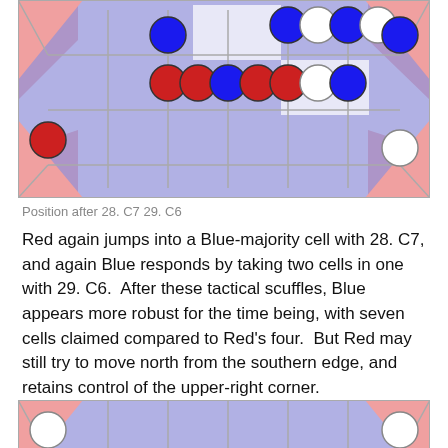[Figure (illustration): Game board diagram showing position after moves 28. C7 29. C6. Board with colored cells (blue, pink/red background areas) and pieces (blue filled circles, red filled circles, white/empty circles) connected by lines on a grid.]
Position after 28. C7 29. C6
Red again jumps into a Blue-majority cell with 28. C7, and again Blue responds by taking two cells in one with 29. C6.  After these tactical scuffles, Blue appears more robust for the time being, with seven cells claimed compared to Red's four.  But Red may still try to move north from the southern edge, and retains control of the upper-right corner.
[Figure (illustration): Bottom portion of another game board diagram showing the lower section of the board with colored background areas and pieces (white circles, red circle) on a grid.]